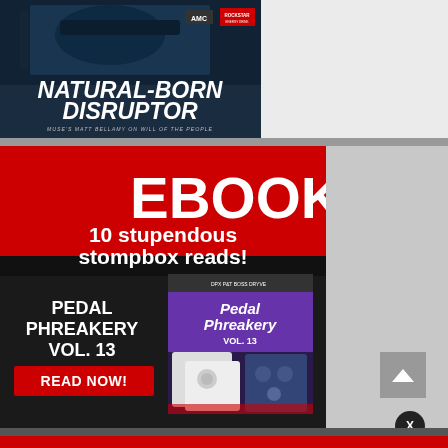[Figure (photo): Magazine cover showing a guitarist playing an electric guitar with text 'Natural-Born Disruptor – Muse's Matt Bellamy on Will of the People']
[Figure (infographic): Advertisement banner for a free ebook: 'FREE EBOOK! 10 stupendous stompbox reads! Pedal Phreakery Vol. 13 – Read Now!' with images of guitar pedals on a dark red background]